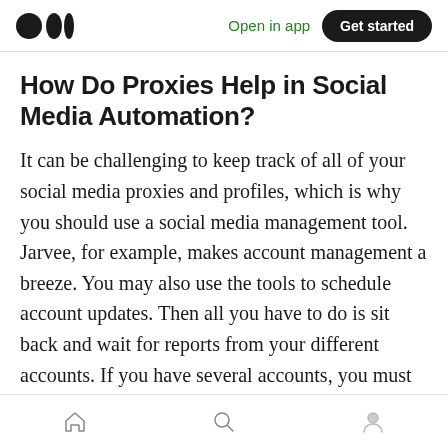Open in app | Get started
How Do Proxies Help in Social Media Automation?
It can be challenging to keep track of all of your social media proxies and profiles, which is why you should use a social media management tool. Jarvee, for example, makes account management a breeze. You may also use the tools to schedule account updates. Then all you have to do is sit back and wait for reports from your different accounts. If you have several accounts, you must use one of these methods to manage your proxies. Try out a few other tools to see which
[home] [search] [profile]